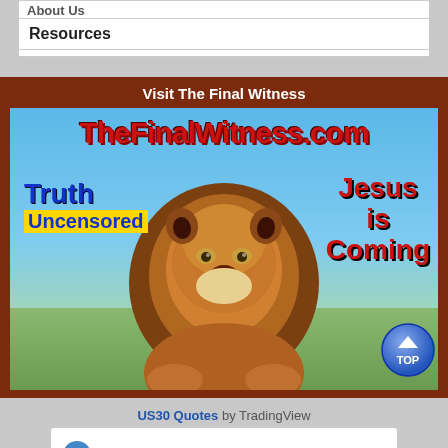About Us
Resources
[Figure (illustration): Advertisement banner for TheFinalWitness.com with a lion image, text: 'Visit The Final Witness', 'TheFinalWitness.com', 'Truth Uncensored', 'Jesus is Coming']
US30 Quotes by TradingView
[Figure (screenshot): US30 trading widget showing US30 label and value 17]